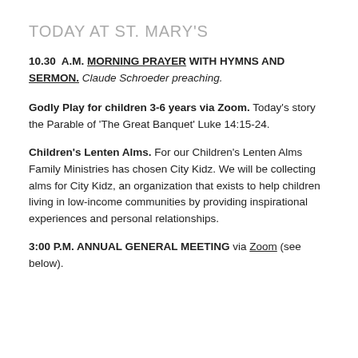TODAY AT ST. MARY'S
10.30 A.M. MORNING PRAYER WITH HYMNS AND SERMON. Claude Schroeder preaching.
Godly Play for children 3-6 years via Zoom. Today's story the Parable of ‘The Great Banquet’ Luke 14:15-24.
Children’s Lenten Alms. For our Children’s Lenten Alms Family Ministries has chosen City Kidz. We will be collecting alms for City Kidz, an organization that exists to help children living in low-income communities by providing inspirational experiences and personal relationships.
3:00 P.M. ANNUAL GENERAL MEETING via Zoom (see below).